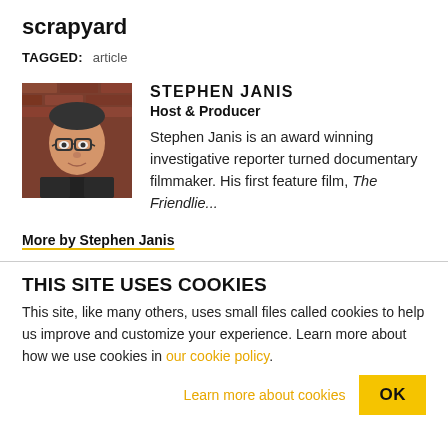scrapyard
TAGGED: article
[Figure (photo): Headshot photo of Stephen Janis, a man with glasses wearing a dark jacket, against a brick wall background.]
STEPHEN JANIS
Host & Producer
Stephen Janis is an award winning investigative reporter turned documentary filmmaker. His first feature film, The Friendlie...
More by Stephen Janis
THIS SITE USES COOKIES
This site, like many others, uses small files called cookies to help us improve and customize your experience. Learn more about how we use cookies in our cookie policy.
Learn more about cookies   OK